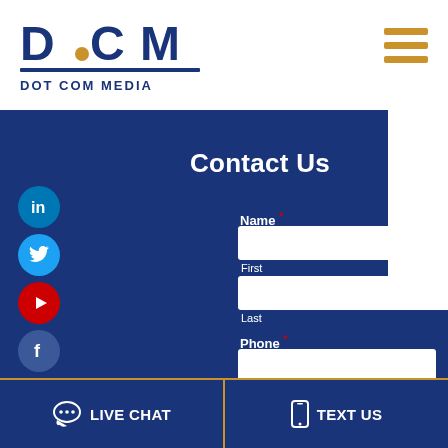[Figure (logo): Dot Com Media logo with DCM letters and yellow/blue design, text DOT COM MEDIA below]
Contact Us
Name *
First
Last
Phone *
LIVE CHAT
TEXT US